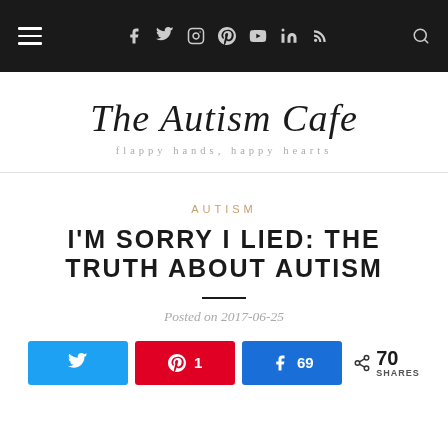Navigation bar with hamburger menu, social icons (f, Twitter, Instagram, Pinterest, YouTube, LinkedIn, RSS), and search
[Figure (logo): The Autism Cafe blog logo with cursive text 'The Autism Cafe' and tagline 'flappy hands, happy hearts']
AUTISM
I'M SORRY I LIED: THE TRUTH ABOUT AUTISM
Posted on 2017-06-25
Share buttons: Twitter, Pinterest 1, Facebook 69, Total 70 SHARES